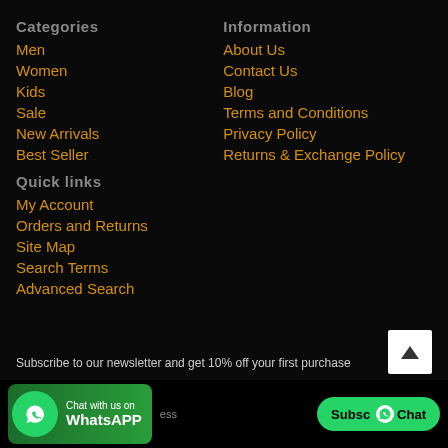Categories
Men
Women
Kids
Sale
New Arrivals
Best Seller
Information
About Us
Contact Us
Blog
Terms and Conditions
Privacy Policy
Returns & Exchange Policy
Quick links
My Account
Orders and Returns
Site Map
Search Terms
Advanced Search
Subscribe to our newsletter and get 10% off your first purchase
Chat with us on WhatsApp  Subsc Chat